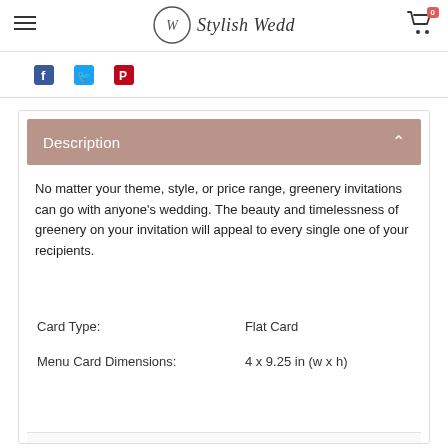Stylish Wedd
[Figure (logo): Stylish Wedd logo with circular W monogram and script text]
Description
No matter your theme, style, or price range, greenery invitations can go with anyone's wedding. The beauty and timelessness of greenery on your invitation will appeal to every single one of your recipients.
| Card Type: | Flat Card |
| Menu Card Dimensions: | 4 x 9.25 in (w x h) |